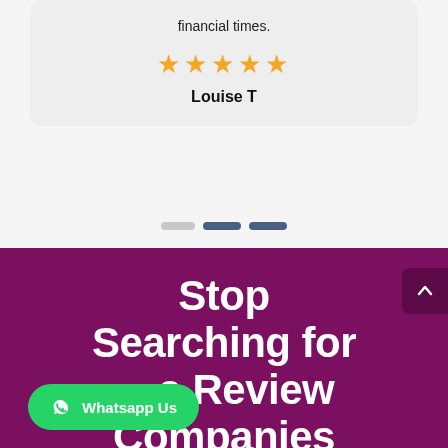financial times.
[Figure (other): Five gold star rating]
Louise T
[Figure (other): Carousel navigation dots: one inactive (grey), two active (dark blue)]
Stop Searching for a Review Companies
[Figure (other): Whatsapp Us green button with WhatsApp icon]
[Figure (other): Scroll to top button (dark purple, chevron up) on right edge]